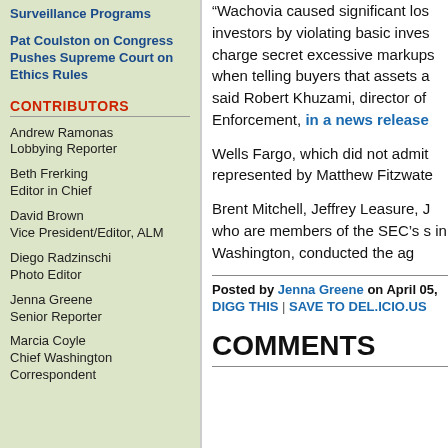Surveillance Programs
Pat Coulston on Congress Pushes Supreme Court on Ethics Rules
CONTRIBUTORS
Andrew Ramonas
Lobbying Reporter
Beth Frerking
Editor in Chief
David Brown
Vice President/Editor, ALM
Diego Radzinschi
Photo Editor
Jenna Greene
Senior Reporter
Marcia Coyle
Chief Washington Correspondent
“Wachovia caused significant los investors by violating basic inves charge secret excessive markups when telling buyers that assets a said Robert Khuzami, director of Enforcement, in a news release
Wells Fargo, which did not admit represented by Matthew Fitzwate
Brent Mitchell, Jeffrey Leasure, J who are members of the SEC’s s in Washington, conducted the ag
Posted by Jenna Greene on April 05,
DIGG THIS | SAVE TO DEL.ICIO.US
COMMENTS